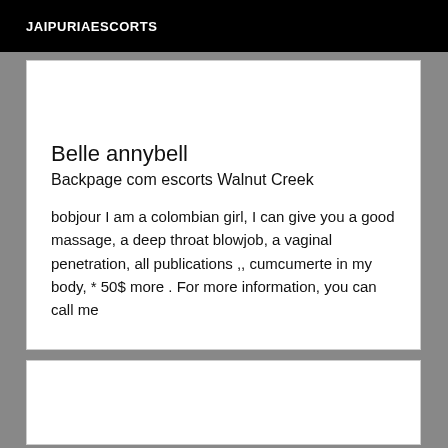JAIPURIAESCORTS
Belle annybell
Backpage com escorts Walnut Creek
bobjour I am a colombian girl, I can give you a good massage, a deep throat blowjob, a vaginal penetration, all publications ,, cumcumerte in my body, * 50$ more . For more information, you can call me